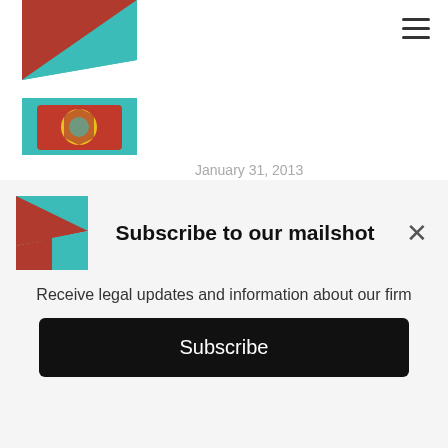[Figure (logo): Colorful geometric logo top-left with teal and red/orange triangular shapes]
January 31, 2013
[Figure (photo): Thumbnail image for Clients Deserve Better than Old... article]
Clients Deserve Better than Old...
January 31, 2013
[Figure (photo): Thumbnail image for Predicting Changes - Property and... article]
Predicting Changes – Property and...
January 31, 2013
Subscribe to our mailshot
Receive legal updates and information about our firm
Subscribe